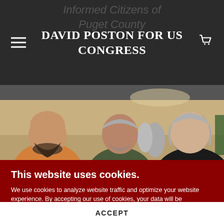DAVID POSTON FOR US CONGRESS
[Figure (photo): Three men standing and talking at an indoor event. Man on left wearing orange shirt, man in center wearing dark green jacket, man on right with gray hair wearing black leather jacket. Crowd visible in background.]
This website uses cookies.
We use cookies to analyze website traffic and optimize your website experience. By accepting our use of cookies, your data will be aggregated with all other user data.
ACCEPT